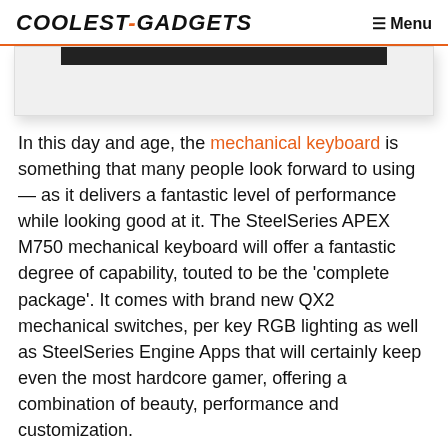COOLEST-GADGETS  ☰ Menu
[Figure (photo): Partial image of a keyboard or device, showing a dark bar at the top against a light grey background, with drop shadow at bottom.]
In this day and age, the mechanical keyboard is something that many people look forward to using — as it delivers a fantastic level of performance while looking good at it. The SteelSeries APEX M750 mechanical keyboard will offer a fantastic degree of capability, touted to be the 'complete package'. It comes with brand new QX2 mechanical switches, per key RGB lighting as well as SteelSeries Engine Apps that will certainly keep even the most hardcore gamer, offering a combination of beauty, performance and customization.